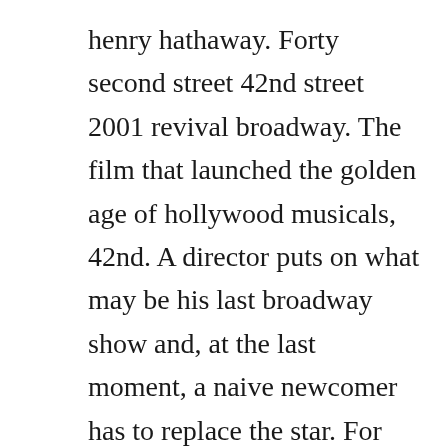henry hathaway. Forty second street 42nd street 2001 revival broadway. The film that launched the golden age of hollywood musicals, 42nd. A director puts on what may be his last broadway show and, at the last moment, a naive newcomer has to replace the star. For the first time, as with so many of the betterproduced revivals on broadway, we get to hear most of the songs, instead of shortened versions. With philip bertioli, billiekay, emma caffrey, danielle cato. A theatre critic dave obrien teams up with a cop jack mulhall to investigate the murder of a broadway...